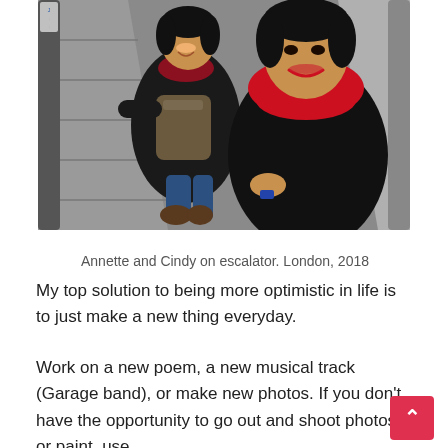[Figure (photo): Two young Asian women smiling on an escalator. The woman on the left wears a black jacket with a red plaid scarf and carries a grey backpack. The woman on the right (foreground) wears a black coat with a bright red scarf and holds a small object. Photo taken from above, London, 2018.]
Annette and Cindy on escalator. London, 2018
My top solution to being more optimistic in life is to just make a new thing everyday.
Work on a new poem, a new musical track (Garage band), or make new photos. If you don't have the opportunity to go out and shoot photos or paint, use